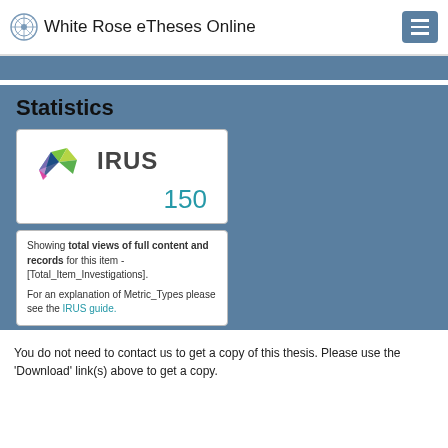White Rose eTheses Online
Statistics
[Figure (logo): IRUS logo with colorful geometric bird/phoenix shape and the text 'IRUS', showing the number 150 below in teal color]
Showing total views of full content and records for this item - [Total_Item_Investigations]. For an explanation of Metric_Types please see the IRUS guide.
You do not need to contact us to get a copy of this thesis. Please use the 'Download' link(s) above to get a copy.